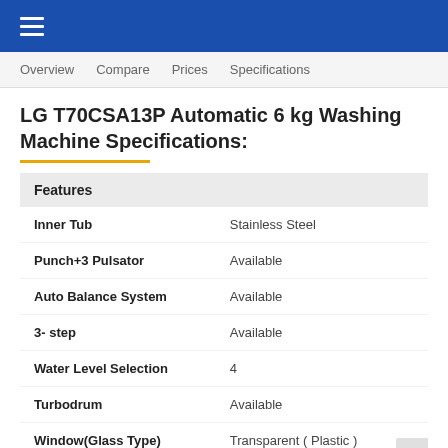≡
Overview  Compare  Prices  Specifications
LG T70CSA13P Automatic 6 kg Washing Machine Specifications:
| Features |  |
| --- | --- |
| Inner Tub | Stainless Steel |
| Punch+3 Pulsator | Available |
| Auto Balance System | Available |
| 3- step | Available |
| Water Level Selection | 4 |
| Turbodrum | Available |
| Window(Glass Type) | Transparent ( Plastic ) |
| Temp Selection | Cold |